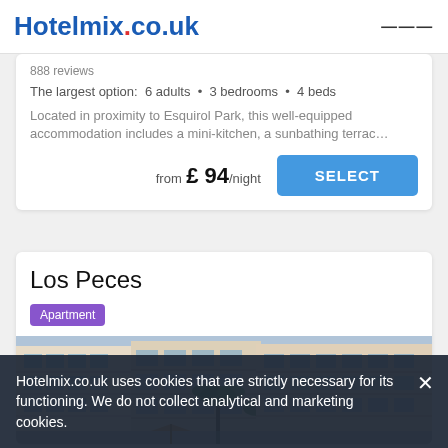Hotelmix.co.uk
888 reviews
The largest option:  6 adults  •  3 bedrooms  •  4 beds
Located in proximity to Esquirol Park, this well-equipped accommodation includes a mini-kitchen, a sunbathing terrac…
from £ 94/night
Los Peces
Apartment
[Figure (photo): Exterior photo of Los Peces apartment building with balconies and palm trees]
Hotelmix.co.uk uses cookies that are strictly necessary for its functioning. We do not collect analytical and marketing cookies.